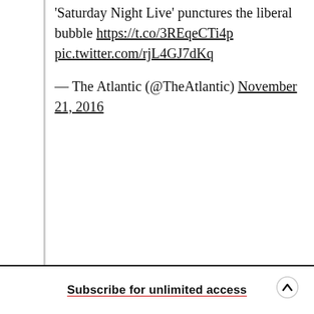'Saturday Night Live' punctures the liberal bubble https://t.co/3REqeCTi4p pic.twitter.com/rjL4GJ7dKq
— The Atlantic (@TheAtlantic) November 21, 2016
Subscribe for unlimited access